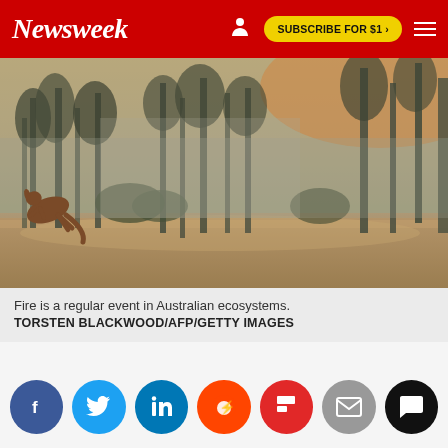Newsweek | SUBSCRIBE FOR $1 >
[Figure (photo): A kangaroo bounding across a dry dirt clearing in an Australian eucalyptus forest shrouded in smoke and haze. Trees are visible in the background amid orange and grey smoky sky suggesting an active wildfire nearby.]
Fire is a regular event in Australian ecosystems.
TORSTEN BLACKWOOD/AFP/GETTY IMAGES
[Figure (infographic): Social media share icons row: Facebook (blue), Twitter (light blue), LinkedIn (blue), Reddit (orange), Flipboard (red), Email (grey), Comment (black)]